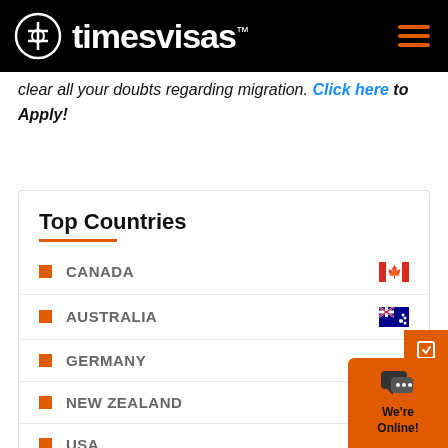timesvisas™
clear all your doubts regarding migration. Click here to Apply!
Top Countries
CANADA
AUSTRALIA
GERMANY
NEW ZEALAND
USA